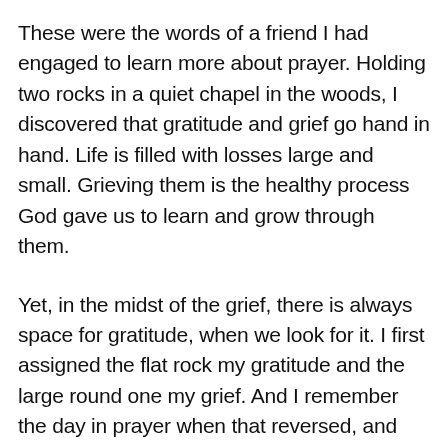These were the words of a friend I had engaged to learn more about prayer. Holding two rocks in a quiet chapel in the woods, I discovered that gratitude and grief go hand in hand. Life is filled with losses large and small. Grieving them is the healthy process God gave us to learn and grow through them.
Yet, in the midst of the grief, there is always space for gratitude, when we look for it. I first assigned the flat rock my gratitude and the large round one my grief. And I remember the day in prayer when that reversed, and my gratitude was large, and joy emerged.